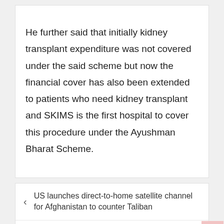He further said that initially kidney transplant expenditure was not covered under the said scheme but now the financial cover has also been extended to patients who need kidney transplant and SKIMS is the first hospital to cover this procedure under the Ayushman Bharat Scheme.
< US launches direct-to-home satellite channel for Afghanistan to counter Taliban
CRPF Head Constable from Maharashtra dies at Awantipora >
Search